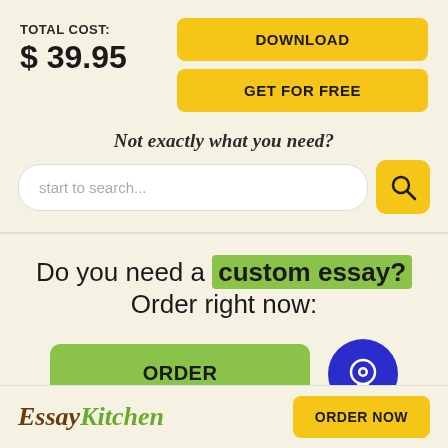TOTAL COST: $ 39.95
DOWNLOAD
GET FOR FREE
Not exactly what you need?
start to search...
Do you need a custom essay? Order right now:
ORDER
EssayKitchen  ORDER NOW